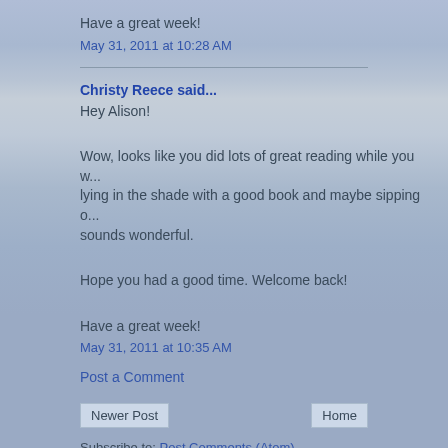Have a great week!
May 31, 2011 at 10:28 AM
Christy Reece said...
Hey Alison!
Wow, looks like you did lots of great reading while you w... lying in the shade with a good book and maybe sipping o... sounds wonderful.
Hope you had a good time. Welcome back!
Have a great week!
May 31, 2011 at 10:35 AM
Post a Comment
Newer Post
Home
Subscribe to: Post Comments (Atom)